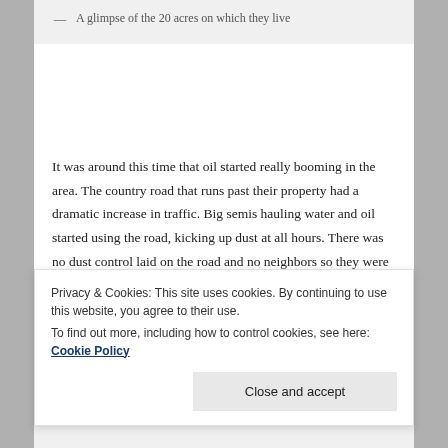— A glimpse of the 20 acres on which they live
It was around this time that oil started really booming in the area. The country road that runs past their property had a dramatic increase in traffic. Big semis hauling water and oil started using the road, kicking up dust at all hours. There was no dust control laid on the road and no neighbors so they were exposed and the dust was awful.
Privacy & Cookies: This site uses cookies. By continuing to use this website, you agree to their use.
To find out more, including how to control cookies, see here: Cookie Policy
Close and accept